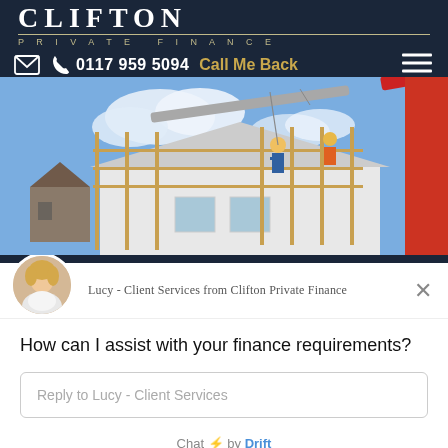CLIFTON PRIVATE FINANCE
0117 959 5094   Call Me Back
[Figure (photo): Construction site photo showing workers on scaffolding around a house roof with a crane lifting a beam against a blue sky]
Lucy - Client Services from Clifton Private Finance
How can I assist with your finance requirements?
Reply to Lucy - Client Services
Chat ⚡ by Drift